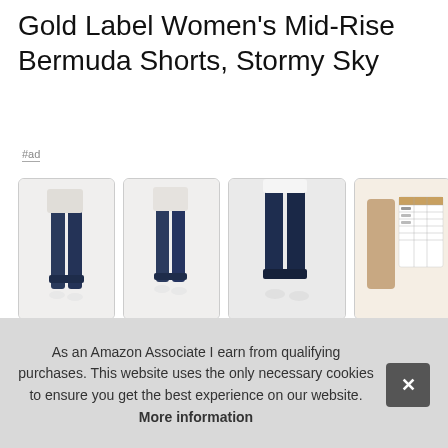Gold Label Women's Mid-Rise Bermuda Shorts, Stormy Sky
#ad
[Figure (photo): Four product photos of dark denim Bermuda shorts. First: side view on model. Second: front view on model. Third: rear view on model. Fourth: size chart image.]
Sign in
Log in means
As an Amazon Associate I earn from qualifying purchases. This website uses the only necessary cookies to ensure you get the best experience on our website. More information